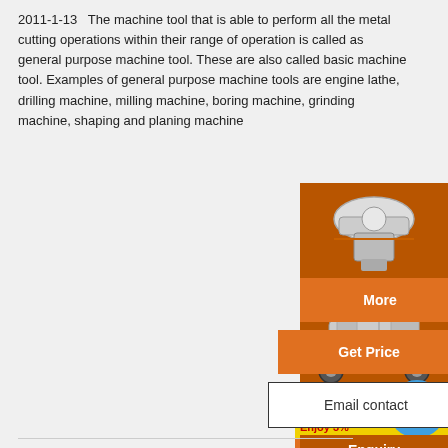2011-1-13   The machine tool that is able to perform all the metal cutting operations within their range of operation is called as general purpose machine tool. These are also called basic machine tool. Examples of general purpose machine tools are engine lathe, drilling machine, milling machine, boring machine, grinding machine, shaping and planing machine
[Figure (photo): Orange advertisement panel showing industrial crushing/grinding machines]
More
Get Price
Email contact
Enquiry
mumumugoods@gmail.com
<< Previous:Luster Of A Silver Ore
>> Next:American Made Stone Crusher Crusher Cone Crusher